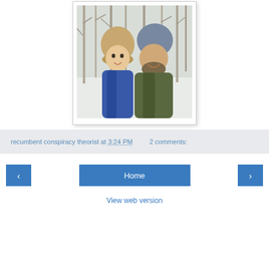[Figure (photo): Two people (a child and an adult) smiling outdoors in a snowy winter forest setting. The child wears a fur-trimmed hat and blue jacket; the adult wears a grey beanie and sunglasses with a dark olive jacket. Appears to be a selfie-style photo.]
recumbent conspiracy theorist at 3:24 PM    2 comments:
Home
View web version